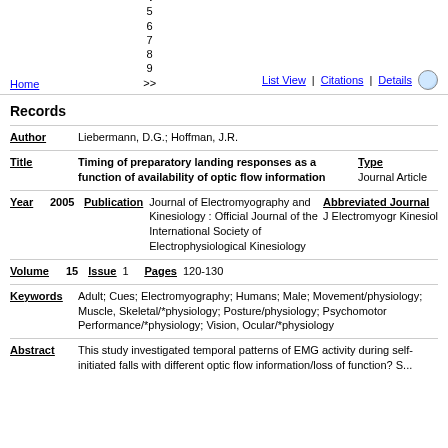<< 1 2 3 4 5 6 7 8 9 >> | Home | List View | Citations | Details
Records
Author: Liebermann, D.G.; Hoffman, J.R.
Title: Timing of preparatory landing responses as a function of availability of optic flow information | Type: Journal Article
Year: 2005 | Publication: Journal of Electromyography and Kinesiology : Official Journal of the International Society of Electrophysiological Kinesiology | Abbreviated Journal: J Electromyogr Kinesiol
Volume: 15 | Issue: 1 | Pages: 120-130
Keywords: Adult; Cues; Electromyography; Humans; Male; Movement/physiology; Muscle, Skeletal/*physiology; Posture/physiology; Psychomotor Performance/*physiology; Vision, Ocular/*physiology
Abstract: This study investigated temporal patterns of EMG activity during self-initiated falls with different optic flow information/loss of function? S...